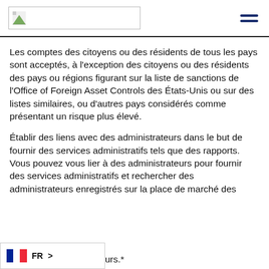[Figure (screenshot): Navigation bar with logo placeholder image and hamburger menu icon]
Les comptes des citoyens ou des résidents de tous les pays sont acceptés, à l'exception des citoyens ou des résidents des pays ou régions figurant sur la liste de sanctions de l'Office of Foreign Asset Controls des États-Unis ou sur des listes similaires, ou d'autres pays considérés comme présentant un risque plus élevé.
Établir des liens avec des administrateurs dans le but de fournir des services administratifs tels que des rapports. Vous pouvez vous lier à des administrateurs pour fournir des services administratifs et rechercher des administrateurs enregistrés sur la place de marché des administrateurs.*